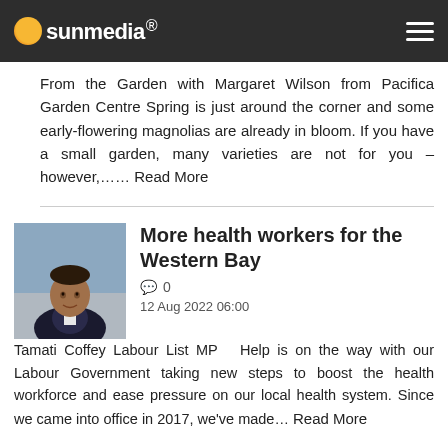sunmedia
From the Garden with Margaret Wilson from Pacifica Garden Centre Spring is just around the corner and some early-flowering magnolias are already in bloom. If you have a small garden, many varieties are not for you – however,…… Read More
More health workers for the Western Bay
0
12 Aug 2022 06:00
Tamati Coffey Labour List MP   Help is on the way with our Labour Government taking new steps to boost the health workforce and ease pressure on our local health system. Since we came into office in 2017, we've made… Read More